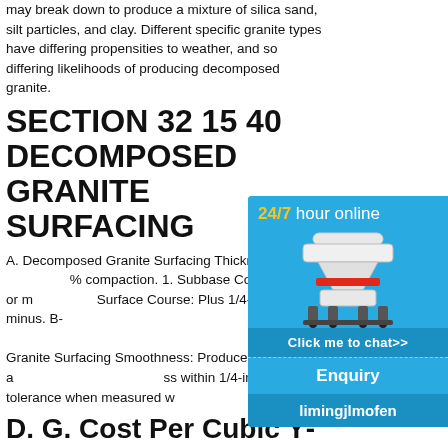may break down to produce a mixture of silica sand, silt particles, and clay. Different specific granite types have differing propensities to weather, and so differing likelihoods of producing decomposed granite.
SECTION 32 15 40 DECOMPOSED GRANITE SURFACING
A. Decomposed Granite Surfacing Thickness: % compaction. 1. Subbase Course: Plus or m Surface Course: Plus 1/4-inch, no minus. B. Granite Surfacing Smoothness: Produce a ss within 1/4-inch tolerance when measured w
D. G. Cost Per Cubic Y Rocks, Gravel & Crush
Decomposed Granite Materials Cost Per C yard or often called a square yard of decom crushed stone fines material typically weigh r 1-1/2 tons and will typically cost from 37.99
[Figure (other): Advertisement overlay: A blue box with '24/7 hour online' heading in yellow and white, a cone crusher machine image, a 'Click me to chat>>' button, an 'Enquiry' section, and 'limingjlmofen' branding at the bottom.]